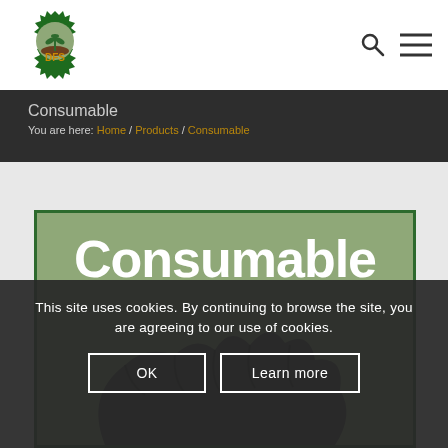[Figure (logo): DFS logo: green gear with wheat sprout and brown DFS text]
Consumable
You are here: Home / Products / Consumable
[Figure (illustration): Consumable product banner: sage green background with large white bold text 'Consumable' and a dark hand/glove graphic below]
This site uses cookies. By continuing to browse the site, you are agreeing to our use of cookies.
OK   Learn more